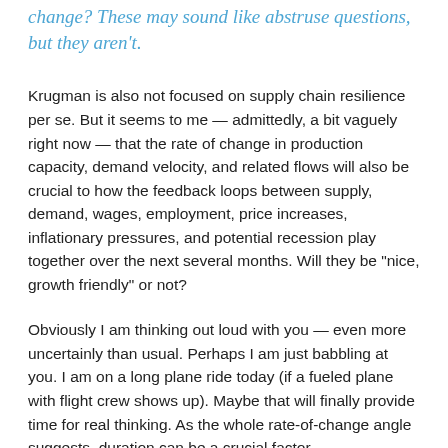change? These may sound like abstruse questions, but they aren't.
Krugman is also not focused on supply chain resilience per se. But it seems to me — admittedly, a bit vaguely right now — that the rate of change in production capacity, demand velocity, and related flows will also be crucial to how the feedback loops between supply, demand, wages, employment, price increases, inflationary pressures, and potential recession play together over the next several months. Will they be "nice, growth friendly" or not?
Obviously I am thinking out loud with you — even more uncertainly than usual. Perhaps I am just babbling at you. I am on a long plane ride today (if a fueled plane with flight crew shows up). Maybe that will finally provide time for real thinking. As the whole rate-of-change angle suggests, duration can be a crucial factor.